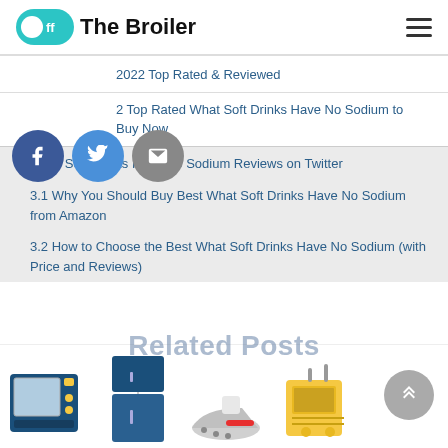Off The Broiler
2022 Top Rated & Reviewed
2 Top Rated What Soft Drinks Have No Sodium to Buy Now
3 What Soft Drinks Have No Sodium Reviews on Twitter
3.1 Why You Should Buy Best What Soft Drinks Have No Sodium from Amazon
3.2 How to Choose the Best What Soft Drinks Have No Sodium (with Price and Reviews)
Related Posts
[Figure (illustration): Bottom strip with appliance icons: microwave/control panel, refrigerator, iron, and yellow radio/device]